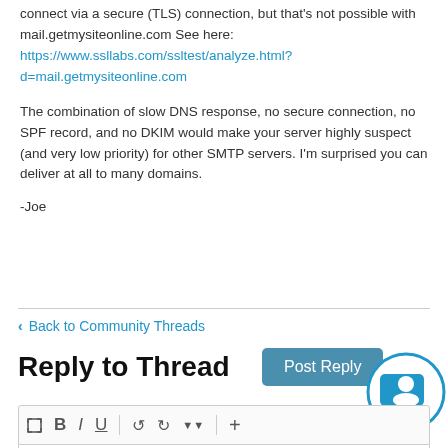connect via a secure (TLS) connection, but that's not possible with mail.getmysiteonline.com See here: https://www.ssllabs.com/ssltest/analyze.html?d=mail.getmysiteonline.com
The combination of slow DNS response, no secure connection, no SPF record, and no DKIM would make your server highly suspect (and very low priority) for other SMTP servers. I'm surprised you can deliver at all to many domains.
-Joe
< Back to Community Threads
Reply to Thread
Post Reply
[Figure (illustration): Blue circular chat/support icon with a person and speech bubble]
[Figure (screenshot): Text editor toolbar with expand, Bold (B), Italic (I), Underline (U), undo, redo, dropdown, and plus (+) icons]